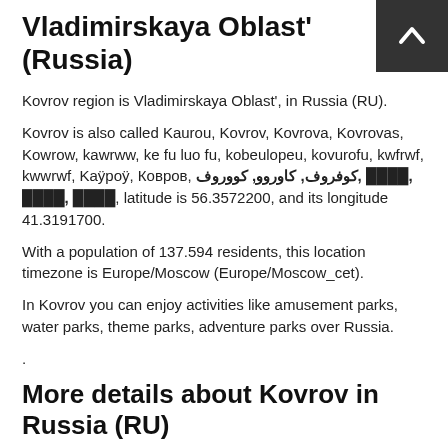Vladimirskaya Oblast' (Russia)
Kovrov region is Vladimirskaya Oblast', in Russia (RU).
Kovrov is also called Kaurou, Kovrov, Kovrova, Kovrovas, Kowrow, kawrww, ke fu luo fu, kobeulopeu, kovurofu, kwfrwf, kwwrwf, Kaÿpoÿ, Ковров, كوفروف, كاوروو, كووروف, ████, ████, ████, latitude is 56.3572200, and its longitude 41.3191700.
With a population of 137.594 residents, this location timezone is Europe/Moscow (Europe/Moscow_cet).
In Kovrov you can enjoy activities like amusement parks, water parks, theme parks, adventure parks over Russia.
.
More details about Kovrov in Russia (RU)
It is the capital of Kovrovsky District.